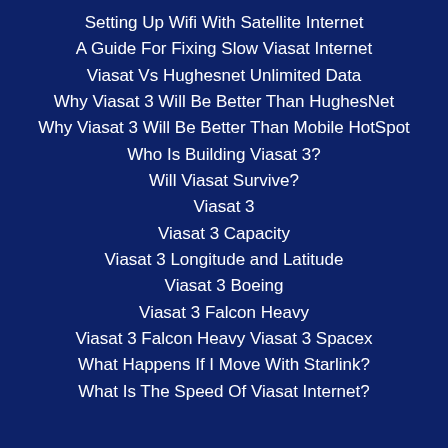Setting Up Wifi With Satellite Internet
A Guide For Fixing Slow Viasat Internet
Viasat Vs Hughesnet Unlimited Data
Why Viasat 3 Will Be Better Than HughesNet
Why Viasat 3 Will Be Better Than Mobile HotSpot
Who Is Building Viasat 3?
Will Viasat Survive?
Viasat 3
Viasat 3 Capacity
Viasat 3 Longitude and Latitude
Viasat 3 Boeing
Viasat 3 Falcon Heavy
Viasat 3 Falcon Heavy Viasat 3 Spacex
What Happens If I Move With Starlink?
What Is The Speed Of Viasat Internet?